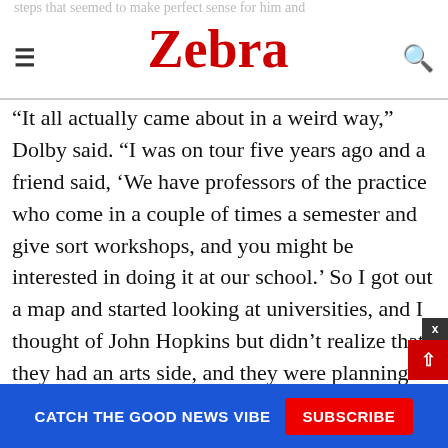Zebra
“It all actually came about in a weird way,” Dolby said. “I was on tour five years ago and a friend said, ‘We have professors of the practice who come in a couple of times a semester and give sort workshops, and you might be interested in doing it at our school.’ So I got out a map and started looking at universities, and I thought of John Hopkins but didn’t realize that they had an arts side, and they were planning to open a new film & media studies center in Baltimore, and they needed somebody to help them with the design for the space, but also with the curriculum, because although they had a film department, it was sort of academic up to that point and this was the beginnings of a new film school, basically, which they did in conjunction wi
CATCH THE GOOD NEWS VIBE   SUBSCRIBE